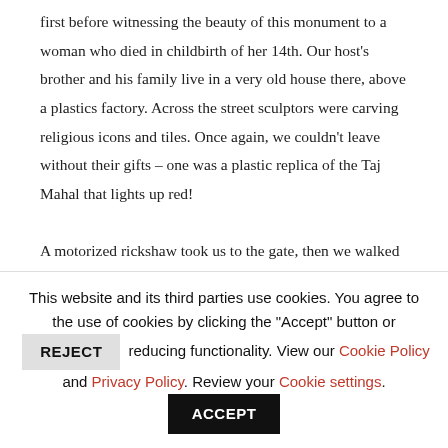first before witnessing the beauty of this monument to a woman who died in childbirth of her 14th. Our host's brother and his family live in a very old house there, above a plastics factory. Across the street sculptors were carving religious icons and tiles. Once again, we couldn't leave without their gifts – one was a plastic replica of the Taj Mahal that lights up red!

A motorized rickshaw took us to the gate, then we walked in dodging the many beggars and sellers of trinkets. Entry is very inexpensive for the locals – about 50 cents, but for foreigners, about $17. For 20 rupees, about 50 cents, our host insisted on
This website and its third parties use cookies. You agree to the use of cookies by clicking the "Accept" button or REJECT reducing functionality. View our Cookie Policy and Privacy Policy. Review your Cookie settings. ACCEPT